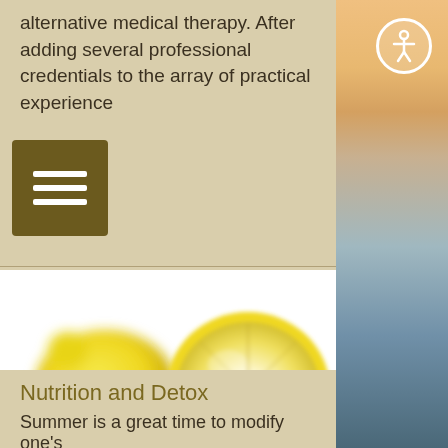alternative medical therapy. After adding several professional credentials to the array of practical experience
[Figure (other): Hamburger menu button icon (three horizontal white lines on dark olive/brown background)]
[Figure (photo): Close-up photo of yellow lemons on white background — a halved lemon showing interior segments on the right, and a whole lemon blurred on the left]
Nutrition and Detox
Summer is a great time to modify one's